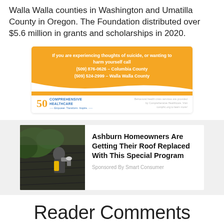Walla Walla counties in Washington and Umatilla County in Oregon. The Foundation distributed over $5.6 million in grants and scholarships in 2020.
[Figure (infographic): Comprehensive Healthcare advertisement banner in orange and white. Text: 'If you are experiencing thoughts of suicide, or wanting to harm yourself call (509) 876-0626 – Columbia County (509) 524-2999 – Walla Walla County'. Logo: 50 Comprehensive Healthcare. Small text: 'Behavioral health crisis services are provided by Comprehensive Healthcare. Visit comphc.org to learn more!']
[Figure (infographic): Sponsored advertisement card: photo of a worker replacing a roof on the left, text on the right reads 'Ashburn Homeowners Are Getting Their Roof Replaced With This Special Program', with 'Sponsored By Smart Consumer' below.]
Reader Comments